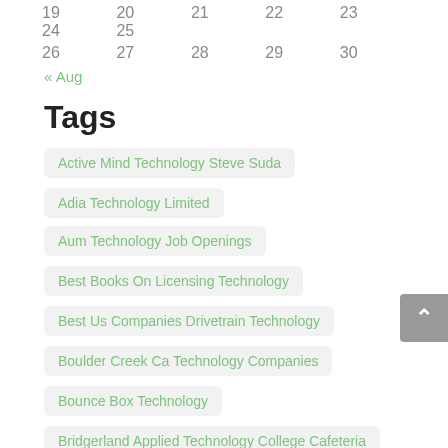19  20  21  22  23  24  25
26  27  28  29  30
« Aug
Tags
Active Mind Technology Steve Suda
Adia Technology Limited
Aum Technology Job Openings
Best Books On Licensing Technology
Best Us Companies Drivetrain Technology
Boulder Creek Ca Technology Companies
Bounce Box Technology
Bridgerland Applied Technology College Cafeteria
Cisco Technology News
Complete Automated Technology
Defence Technology News